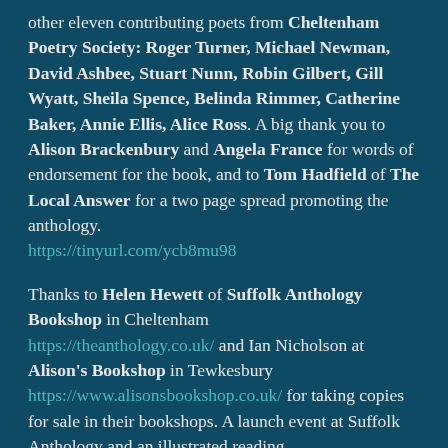other eleven contributing poets from Cheltenham Poetry Society: Roger Turner, Michael Newman, David Ashbee, Stuart Nunn, Robin Gilbert, Gill Wyatt, Sheila Spence, Belinda Rimmer, Catherine Baker, Annie Ellis, Alice Ross. A big thank you to Alison Brackenbury and Angela France for words of endorsement for the book, and to Tom Hadfield of The Local Answer for a two page spread promoting the anthology. https://tinyurl.com/ycb8mu98
Thanks to Helen Hewett of Suffolk Anthology Bookshop in Cheltenham https://theanthology.co.uk/ and Ian Nicholson at Alison's Bookshop in Tewkesbury https://www.alisonsbookshop.co.uk/ for taking copies for sale in their bookshops. A launch event at Suffolk Anthology and an illustrated reading